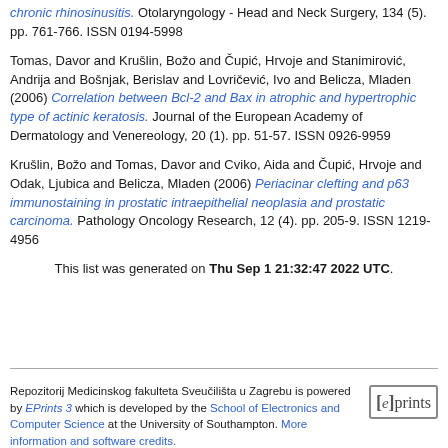chronic rhinosinusitis. Otolaryngology - Head and Neck Surgery, 134 (5). pp. 761-766. ISSN 0194-5998
Tomas, Davor and Krušlin, Božo and Čupić, Hrvoje and Stanimirović, Andrija and Bošnjak, Berislav and Lovričević, Ivo and Belicza, Mladen (2006) Correlation between Bcl-2 and Bax in atrophic and hypertrophic type of actinic keratosis. Journal of the European Academy of Dermatology and Venereology, 20 (1). pp. 51-57. ISSN 0926-9959
Krušlin, Božo and Tomas, Davor and Cviko, Aida and Čupić, Hrvoje and Odak, Ljubica and Belicza, Mladen (2006) Periacinar clefting and p63 immunostaining in prostatic intraepithelial neoplasia and prostatic carcinoma. Pathology Oncology Research, 12 (4). pp. 205-9. ISSN 1219-4956
This list was generated on Thu Sep 1 21:32:47 2022 UTC.
Repozitorij Medicinskog fakulteta Sveučilišta u Zagrebu is powered by EPrints 3 which is developed by the School of Electronics and Computer Science at the University of Southampton. More information and software credits.